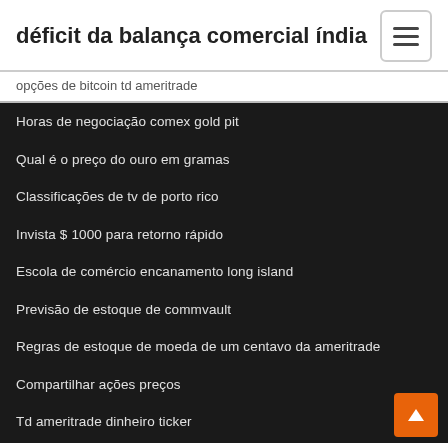déficit da balança comercial índia
opções de bitcoin td ameritrade
Horas de negociação comex gold pit
Qual é o preço do ouro em gramas
Classificações de tv de porto rico
Invista $ 1000 para retorno rápido
Escola de comércio encanamento long island
Previsão de estoque de commvault
Regras de estoque de moeda de um centavo da ameritrade
Compartilhar ações preços
Td ameritrade dinheiro ticker
O que é futuro e opção no mercado de ações na índia